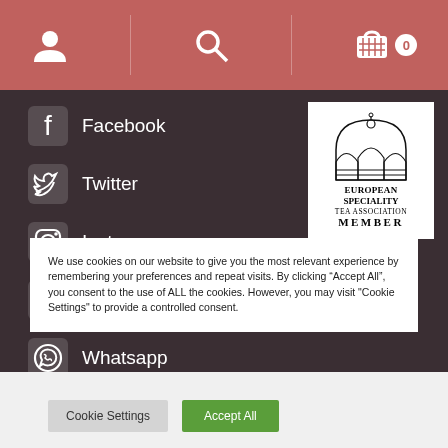Navigation header with user icon, search icon, and cart icon with badge 0
Facebook
Twitter
Instagram
TikTok
Whatsapp
[Figure (logo): European Speciality Tea Association Member logo with crown emblem]
We use cookies on our website to give you the most relevant experience by remembering your preferences and repeat visits. By clicking “Accept All”, you consent to the use of ALL the cookies. However, you may visit "Cookie Settings" to provide a controlled consent.
Cookie Settings | Accept All